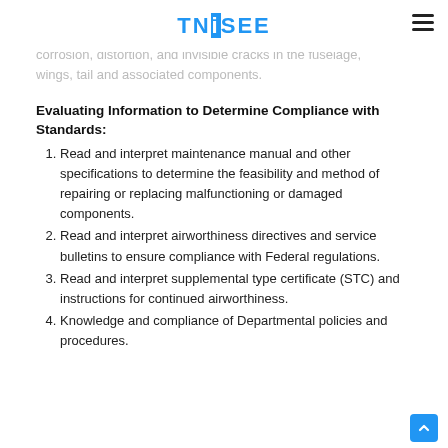TNiSEE
working from ladders or elevated platforms.
7. Determine the necessity of non-destructive testing of corrosion, distortion, and invisible cracks in the fuselage, wings, tail and associated components.
Evaluating Information to Determine Compliance with Standards:
1. Read and interpret maintenance manual and other specifications to determine the feasibility and method of repairing or replacing malfunctioning or damaged components.
2. Read and interpret airworthiness directives and service bulletins to ensure compliance with Federal regulations.
3. Read and interpret supplemental type certificate (STC) and instructions for continued airworthiness.
4. Knowledge and compliance of Departmental policies and procedures.